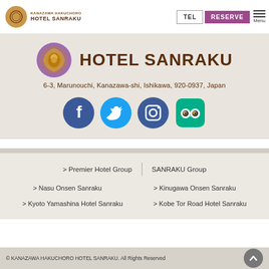KANAZAWA HAKUCHORO HOTEL SANRAKU | TEL | RESERVE | Menu
[Figure (logo): Hotel Sanraku circular logo with decorative pattern in purple/gold, beside the text HOTEL SANRAKU in dark brown]
6-3, Marunouchi, Kanazawa-shi, Ishikawa, 920-0937, Japan
[Figure (illustration): Four social media icons: Facebook (dark blue circle), Twitter (light blue circle), Instagram (dark blue circle), TripAdvisor (teal rounded square)]
> Premier Hotel Group
SANRAKU Group
> Nasu Onsen Sanraku
> Kinugawa Onsen Sanraku
> Kyoto Yamashina Hotel Sanraku
> Kobe Tor Road Hotel Sanraku
© KANAZAWA HAKUCHORO HOTEL SANRAKU. All Rights Reserved